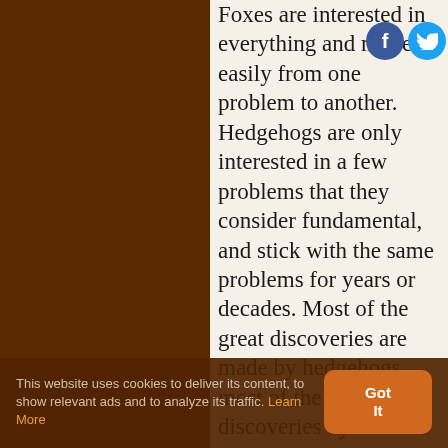Foxes are interested in everything and move easily from one problem to another. Hedgehogs are only interested in a few problems that they consider fundamental, and stick with the same problems for years or decades. Most of the great discoveries are made by hedgehogs, most of the little discoveries by foxes. Science needs both hedgehogs and foxes for its healthy growth, hedgehogs to dig deep into the nature of things, foxes to explore the
[Figure (other): Facebook and Twitter social share icons (circular icons, blue)]
This website uses cookies to deliver its content, to show relevant ads and to analyze its traffic. Learn More